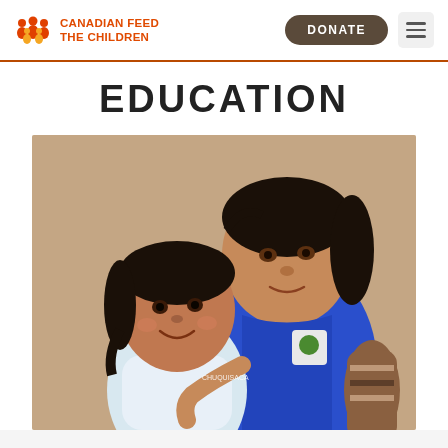Canadian Feed The Children
EDUCATION
[Figure (photo): Two young children smiling at the camera — a younger child in a light blue shirt and an older child/teenager wearing a blue vest/uniform with patches, hugging the younger child. Background is a tan/beige wall.]